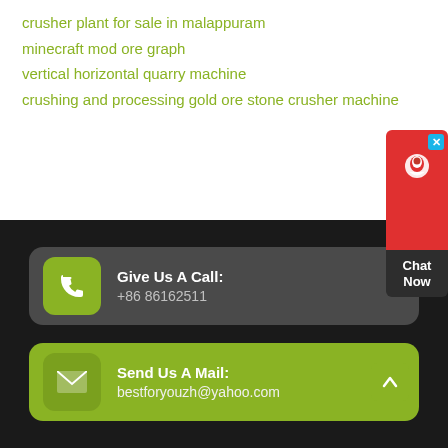crusher plant for sale in malappuram
minecraft mod ore graph
vertical horizontal quarry machine
crushing and processing gold ore stone crusher machine
Give Us A Call: +86 86162511
Send Us A Mail: bestforyouzh@yahoo.com